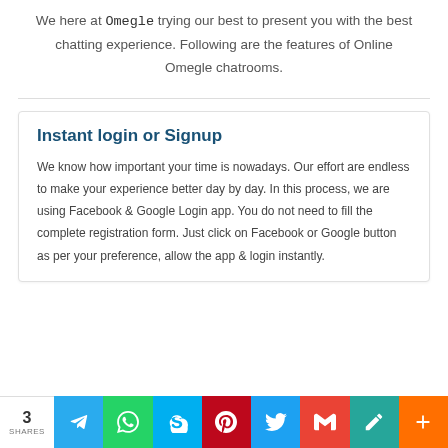We here at Omegle trying our best to present you with the best chatting experience. Following are the features of Online Omegle chatrooms.
Instant login or Signup
We know how important your time is nowadays. Our effort are endless to make your experience better day by day. In this process, we are using Facebook & Google Login app. You do not need to fill the complete registration form. Just click on Facebook or Google button as per your preference, allow the app & login instantly.